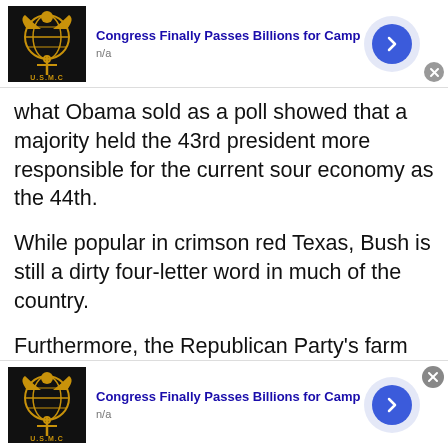[Figure (screenshot): Ad bar with USMC logo, title 'Congress Finally Passes Billions for Camp', 'n/a' subtitle, blue arrow button, close button]
what Obama sold as a poll showed that a majority held the 43rd president more responsible for the current sour economy as the 44th.
While popular in crimson red Texas, Bush is still a dirty four-letter word in much of the country.
Furthermore, the Republican Party's farm team has never been more impressive with no less than four big name front-runners of the Rep...
[Figure (screenshot): Bottom ad bar with USMC logo, title 'Congress Finally Passes Billions for Camp', 'n/a' subtitle, blue arrow button, close button]